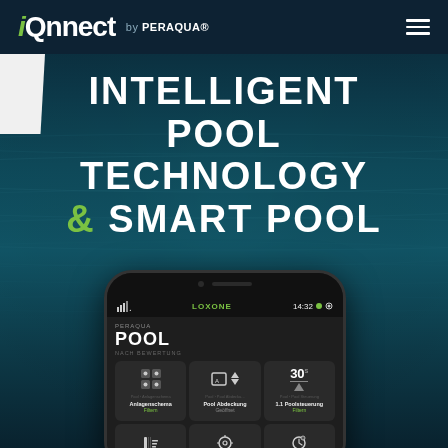iQnnect by PERAQUA®
INTELLIGENT POOL TECHNOLOGY & SMART POOL
[Figure (screenshot): Smartphone mockup showing the iQnnect by PERAQUA app interface (Loxone) with POOL screen showing Anlagenschema, Pool Abdeckung, and 1.1 Poolsteuerung tiles]